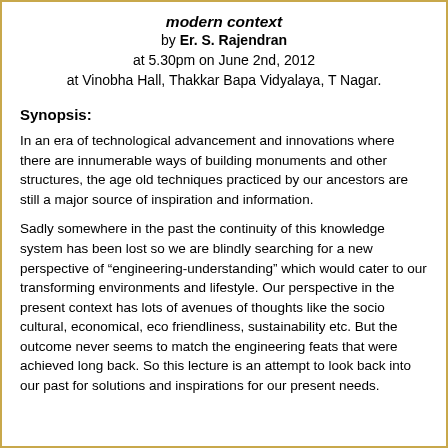modern context by Er. S. Rajendran at 5.30pm on June 2nd, 2012 at Vinobha Hall, Thakkar Bapa Vidyalaya, T Nagar.
Synopsis:
In an era of technological advancement and innovations where there are innumerable ways of building monuments and other structures, the age old techniques practiced by our ancestors are still a major source of inspiration and information.
Sadly somewhere in the past the continuity of this knowledge system has been lost so we are blindly searching for a new perspective of “engineering-understanding” which would cater to our transforming environments and lifestyle. Our perspective in the present context has lots of avenues of thoughts like the socio cultural, economical, eco friendliness, sustainability etc. But the outcome never seems to match the engineering feats that were achieved long back. So this lecture is an attempt to look back into our past for solutions and inspirations for our present needs.